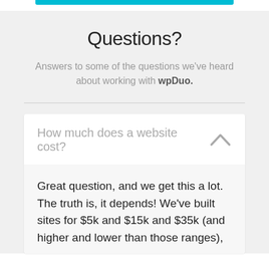Questions?
Answers to some of the questions we've heard about working with wpDuo.
How much does a website cost?
Great question, and we get this a lot. The truth is, it depends! We've built sites for $5k and $15k and $35k (and higher and lower than those ranges),